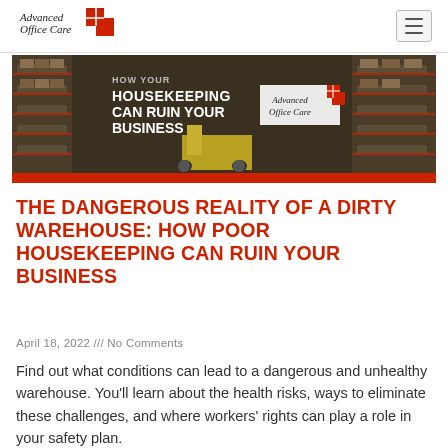Advanced Office Care
[Figure (photo): Hero banner image showing a warehouse with shelving units loaded with boxes and a yellow forklift. White bold text reads 'HOW YOUR HOUSEKEEPING CAN RUIN YOUR BUSINESS' with an Advanced Office Care logo badge.]
THE DANGEROUS REALITY OF A DIRTY WAREHOUSE: HOW POOR HOUSEKEEPING CAN RUIN YOUR BUSINESS
April 18, 2022 /// No Comments
Find out what conditions can lead to a dangerous and unhealthy warehouse. You'll learn about the health risks, ways to eliminate these challenges, and where workers' rights can play a role in your safety plan.